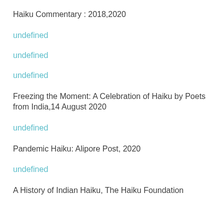Haiku Commentary : 2018,2020
undefined
undefined
undefined
Freezing the Moment: A Celebration of Haiku by Poets from India,14 August 2020
undefined
Pandemic Haiku: Alipore Post, 2020
undefined
A History of Indian Haiku, The Haiku Foundation